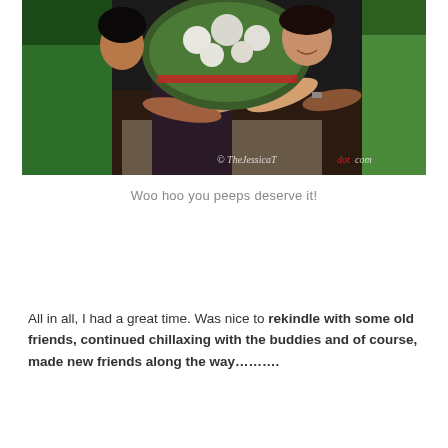[Figure (photo): Photo of people at a party holding a basket with stuffed animals and flowers. Watermark reads '© TheJessicaTdot.com' in bottom right corner.]
Woo hoo you peeps deserve it!
All in all, I had a great time. Was nice to rekindle with some old friends, continued chillaxing with the buddies and of course, made new friends along the way……….